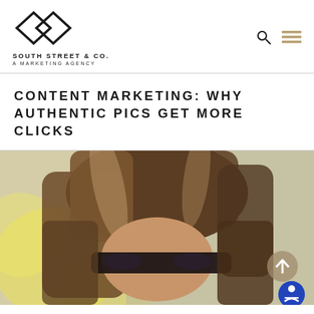[Figure (logo): South Street & Co. logo — two overlapping diamond outlines above the text SOUTH STREET & CO. / A MARKETING AGENCY]
CONTENT MARKETING: WHY AUTHENTIC PICS GET MORE CLICKS
[Figure (photo): Close-up photo of a woman with long brown hair covering part of her face, with a blurred yellow/green background]